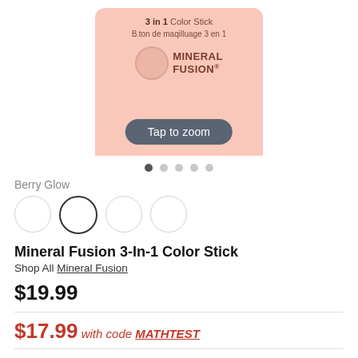[Figure (photo): Product image of Mineral Fusion 3-In-1 Color Stick in a pink/peach packaging with '3 in 1 Color Stick / Bton de maquiluage 3 en 1' text and Mineral Fusion logo, with a 'Tap to zoom' button overlay]
Berry Glow
Mineral Fusion 3-In-1 Color Stick
Shop All Mineral Fusion
$19.99
$17.99 with code MATHTEST